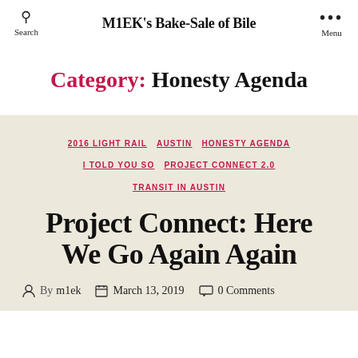M1EK's Bake-Sale of Bile
Category: Honesty Agenda
2016 LIGHT RAIL  AUSTIN  HONESTY AGENDA  I TOLD YOU SO  PROJECT CONNECT 2.0  TRANSIT IN AUSTIN
Project Connect: Here We Go Again Again
By m1ek  March 13, 2019  0 Comments